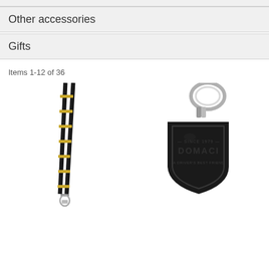Other accessories
Gifts
Items 1-12 of 36
[Figure (photo): Black lanyard with gold text/pattern, metal clip at bottom]
[Figure (photo): Black leather shield-shaped keychain with metal key ring, embossed logo reading 'SINCE 1979 DOMACI' or similar brand]